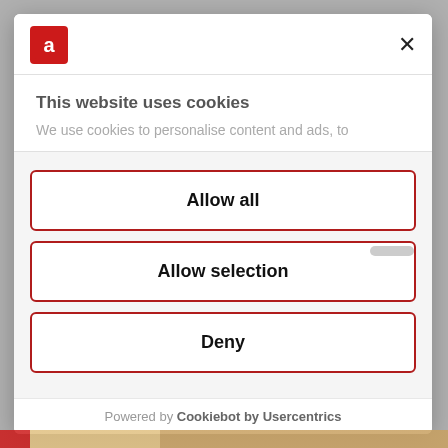[Figure (logo): Red square logo with white stylized letter A, brand name Autana]
×
This website uses cookies
We use cookies to personalise content and ads, to
Allow all
Allow selection
Deny
Powered by Cookiebot by Usercentrics